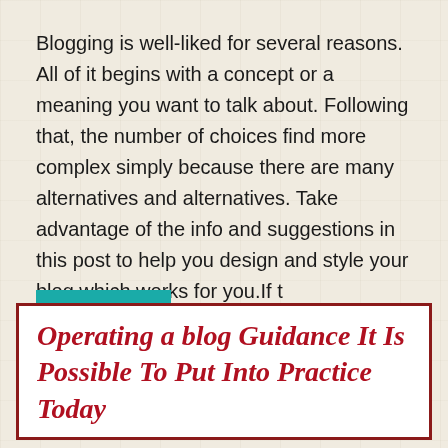Blogging is well-liked for several reasons. All of it begins with a concept or a meaning you want to talk about. Following that, the number of choices find more complex simply because there are many alternatives and alternatives. Take advantage of the info and suggestions in this post to help you design and style your blog which works for you.If t
read more >
Operating a blog Guidance It Is Possible To Put Into Practice Today